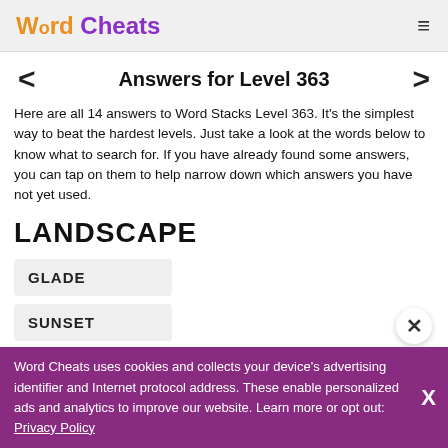Word Cheats
Answers for Level 363
Here are all 14 answers to Word Stacks Level 363. It's the simplest way to beat the hardest levels. Just take a look at the words below to know what to search for. If you have already found some answers, you can tap on them to help narrow down which answers you have not yet used.
LANDSCAPE
GLADE
SUNSET
Word Cheats uses cookies and collects your device's advertising identifier and Internet protocol address. These enable personalized ads and analytics to improve our website. Learn more or opt out: Privacy Policy